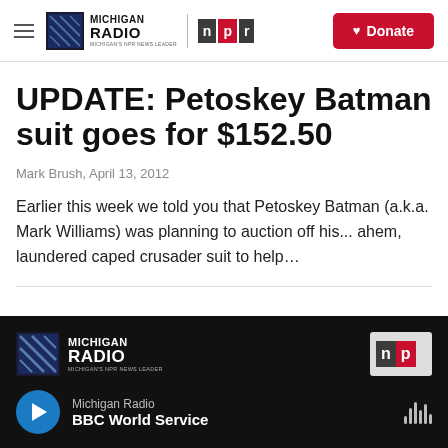Michigan Radio | NPR | Donate
UPDATE: Petoskey Batman suit goes for $152.50
Mark Brush,  April 13, 2012
Earlier this week we told you that Petoskey Batman (a.k.a. Mark Williams) was planning to auction off his... ahem, laundered caped crusader suit to help...
Michigan Radio | BBC World Service